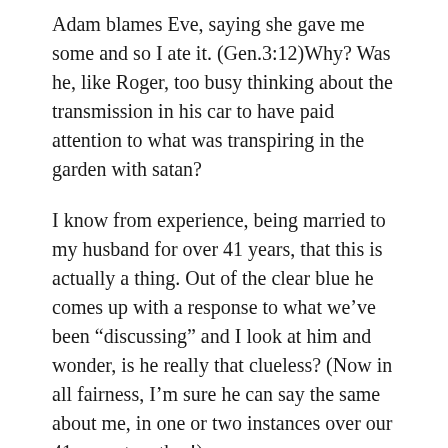Adam blames Eve, saying she gave me some and so I ate it. (Gen.3:12)Why? Was he, like Roger, too busy thinking about the transmission in his car to have paid attention to what was transpiring in the garden with satan?
I know from experience, being married to my husband for over 41 years, that this is actually a thing. Out of the clear blue he comes up with a response to what we’ve been “discussing” and I look at him and wonder, is he really that clueless? (Now in all fairness, I’m sure he can say the same about me, in one or two instances over our 41 years together!)
Now, please don’t get mad at me, as I know the Bible clearly states that God created us in His image. I am in